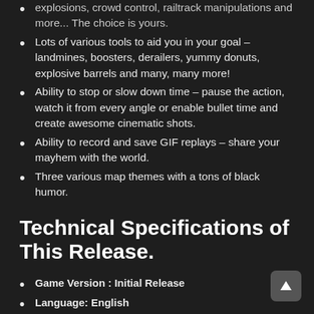explosions, crowd control, railtrack manipulations and more... The choice is yours.
Lots of various tools to aid you in your goal – landmines, boosters, derailers, yummy donuts, explosive barrels and many, many more!
Ability to stop or slow down time – pause the action, watch it from every angle or enable bullet time and create awesome cinematic shots.
Ability to record and save GIF replays – share your mayhem with the world.
Three various map themes with a tons of black humor.
Technical Specifications of This Release.
Game Version : Initial Release
Language: English
Uploader / Repacker Group: SIMPLEX